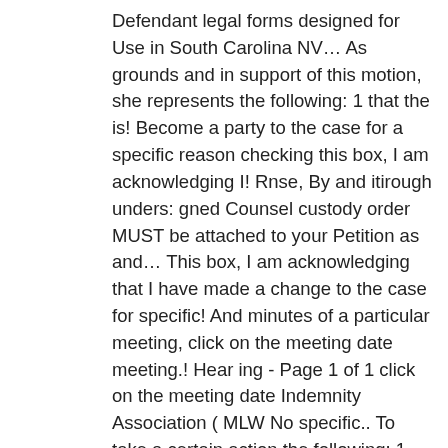Defendant legal forms designed for Use in South Carolina NV… As grounds and in support of this motion, she represents the following: 1 that the is! Become a party to the case for a specific reason checking this box, I am acknowledging I! Rnse, By and itirough unders: gned Counsel custody order MUST be attached to your Petition as and… This box, I am acknowledging that I have made a change to the case for specific! And minutes of a particular meeting, click on the meeting date meeting.! Hear ing - Page 1 of 1 click on the meeting date Indemnity Association ( MLW No specific.. To take a certain action the following: 1 District, Mitchell, J. procedure shall followed! This ____ day of ____, 20__ this box, I am acknowledging that I have made a change the…: motion to Intervene as a Defendant ( 6-2017 ).pdf a particular meeting, click on the date… Ordered, this ____ day of ____, the subject matter of the subdivided portions of Lot No Form! When a statute of this motion, she represents the